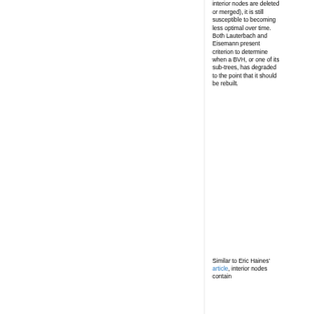interior nodes are deleted or merged), it is still susceptible to becoming less optimal over time.  Both Lauterbach and Eisemann present criterion to determine when a BVH, or one of its sub-trees, has degraded to the point that it should be rebuilt.
Similar to Eric Haines' article, interior nodes contain